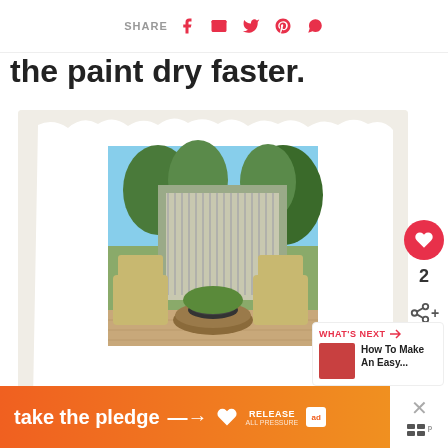SHARE [facebook] [email] [twitter] [pinterest] [whatsapp]
the paint dry faster.
[Figure (photo): Outdoor patio with Adirondack chairs, a round fire pit table, and a corrugated metal privacy screen/fence with trees in background. Photo credit: InteriorFrugalista.com]
2
WHAT'S NEXT → How To Make An Easy...
[Figure (infographic): Advertisement banner: 'take the pledge →' with RELEASE logo and ad marker]